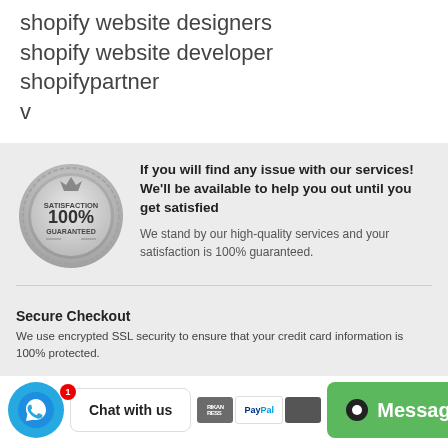shopify website designers
shopify website developer
shopifypartner
v
[Figure (illustration): Silver satisfaction 100% guaranteed badge/seal]
If you will find any issue with our services! We'll be available to help you out until you get satisfied
We stand by our high-quality services and your satisfaction is 100% guaranteed.
Secure Checkout
We use encrypted SSL security to ensure that your credit card information is 100% protected.
[Figure (logo): WhatsApp blue circle button]
Chat with us
[Figure (logo): Payment icons: American Express, PayPal, and another card]
Message